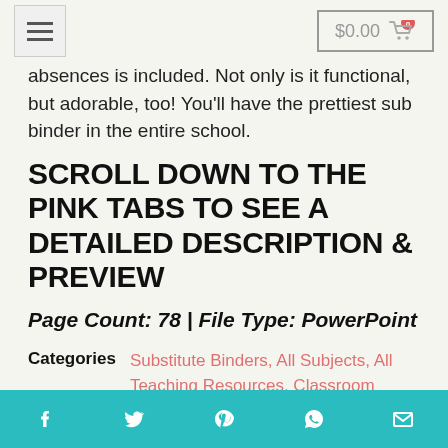$0.00 cart with 0 items
absences is included. Not only is it functional, but adorable, too! You'll have the prettiest sub binder in the entire school.
SCROLL DOWN TO THE PINK TABS TO SEE A DETAILED DESCRIPTION & PREVIEW
Page Count: 78  |  File Type: PowerPoint
Categories  Substitute Binders, All Subjects, All Teaching Resources, Classroom Organization, Sub Plans & Sub
Social share icons: Facebook, Twitter, Pinterest, WhatsApp, Email